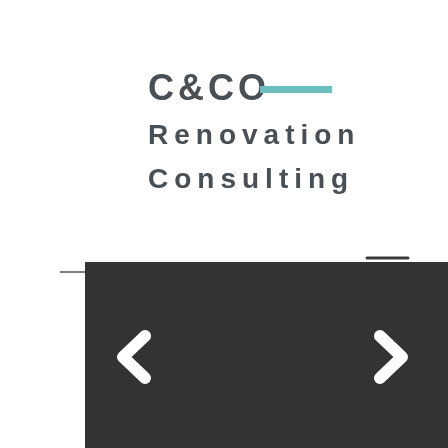[Figure (logo): C&CO Renovation Consulting logo with teal/cyan horizontal rule accent next to C&CO text, company name in dark gray bold spaced letters across three lines]
[Figure (screenshot): Navigation bar with horizontal line and hamburger menu icon (three horizontal lines) on the right side]
[Figure (screenshot): Dark gray image slider / carousel panel with left chevron arrow and right chevron arrow navigation controls, partially visible at bottom of page]